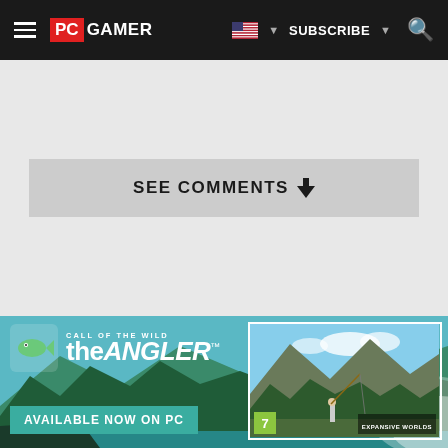PC GAMER — SUBSCRIBE — Search
SEE COMMENTS ▼
[Figure (screenshot): Advertisement banner for 'Call of the Wild: the ANGLER' game, showing scenic lake/forest background, game logo, 'AVAILABLE NOW ON PC' text, and a game screenshot showing a player fishing in a mountain valley.]